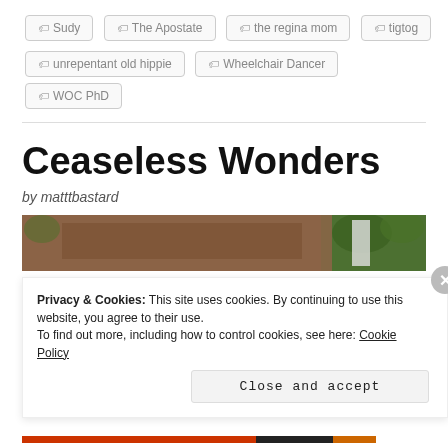🏷 Sudy
🏷 The Apostate
🏷 the regina mom
🏷 tigtog
🏷 unrepentant old hippie
🏷 Wheelchair Dancer
🏷 WOC PhD
Ceaseless Wonders
by matttbastard
[Figure (photo): Outdoor photograph showing a wooden sign with trees and greenery in the background]
Privacy & Cookies: This site uses cookies. By continuing to use this website, you agree to their use. To find out more, including how to control cookies, see here: Cookie Policy
Close and accept